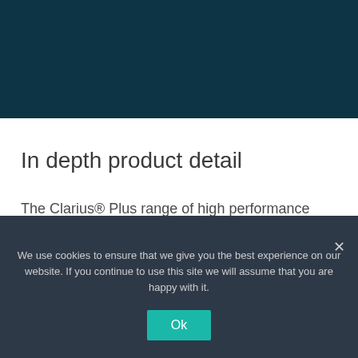[Figure (other): Dark teal/navy header banner at top of page]
In depth product detail
The Clarius® Plus range of high performance infrared LED illuminators are designed to provide class leading performance, long life and ultra low maintenance.
We use cookies to ensure that we give you the best experience on our website. If you continue to use this site we will assume that you are happy with it.